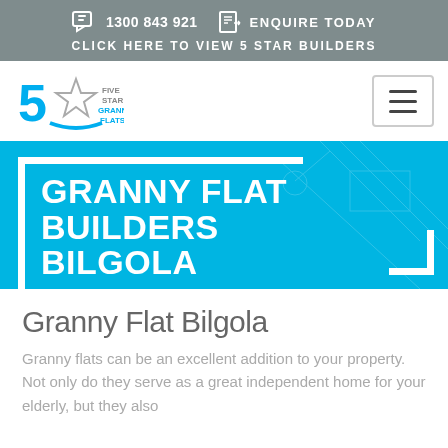1300 843 921   ENQUIRE TODAY   CLICK HERE TO VIEW 5 STAR BUILDERS
[Figure (logo): Five Star Granny Flats logo with a blue 5 and star icon]
GRANNY FLAT BUILDERS BILGOLA
Granny Flat Bilgola
Granny flats can be an excellent addition to your property. Not only do they serve as a great independent home for your elderly, but they also